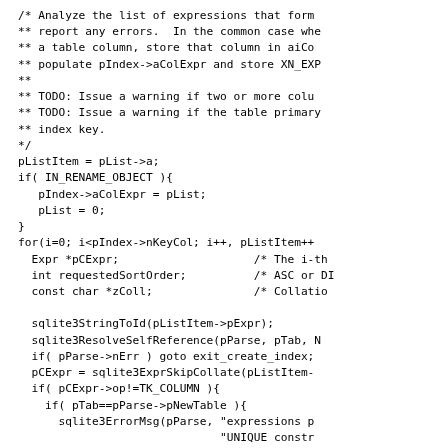/* Analyze the list of expressions that form
** report any errors.  In the common case whe
** a table column, store that column in aiCo
** populate pIndex->aColExpr and store XN_EXP
**
** TODO: Issue a warning if two or more colu
** TODO: Issue a warning if the table primary
** index key.
*/
pListItem = pList->a;
if( IN_RENAME_OBJECT ){
  pIndex->aColExpr = pList;
  pList = 0;
}
for(i=0; i<pIndex->nKeyCol; i++, pListItem++
  Expr *pCExpr;                    /* The i-th
  int requestedSortOrder;          /* ASC or D
  const char *zColl;               /* Collatio

  sqlite3StringToId(pListItem->pExpr);
  sqlite3ResolveSelfReference(pParse, pTab, N
  if( pParse->nErr ) goto exit_create_index;
  pCExpr = sqlite3ExprSkipCollate(pListItem-
  if( pCExpr->op!=TK_COLUMN ){
    if( pTab==pParse->pNewTable ){
      sqlite3ErrorMsg(pParse, "expressions p
                              "UNIQUE constr

      goto exit_create_index;